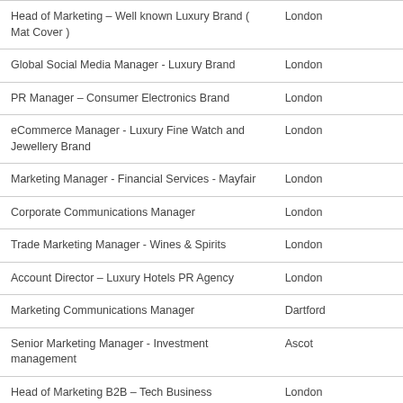| Job Title | Location |
| --- | --- |
| Head of Marketing – Well known Luxury Brand ( Mat Cover ) | London |
| Global Social Media Manager - Luxury Brand | London |
| PR Manager – Consumer Electronics Brand | London |
| eCommerce Manager - Luxury Fine Watch and Jewellery Brand | London |
| Marketing Manager - Financial Services - Mayfair | London |
| Corporate Communications Manager | London |
| Trade Marketing Manager - Wines & Spirits | London |
| Account Director – Luxury Hotels PR Agency | London |
| Marketing Communications Manager | Dartford |
| Senior Marketing Manager - Investment management | Ascot |
| Head of Marketing B2B – Tech Business | London |